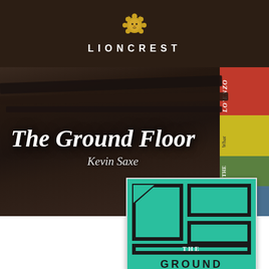LIONCREST
[Figure (photo): Background photo of dark leather-bound books on a table, with colorful book spines visible on the right side including red, yellow/green books]
The Ground Floor
Kevin Saxe
[Figure (illustration): Book cover for 'The Ground Floor' showing a teal/green background with a black architectural floor plan graphic, with text 'THE GROUND' visible at bottom]